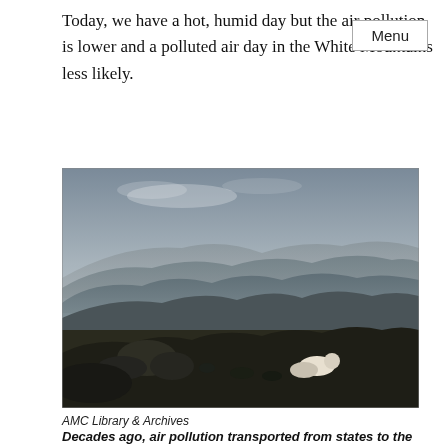Today, we have a hot, humid day but the air pollution is lower and a polluted air day in the White Mountains less likely.
[Figure (photo): Black and white photograph of a person lying on rocky terrain in the foreground, looking out over a wide mountain vista with layered ridgelines and hazy sky, suggesting atmospheric pollution reducing visibility.]
AMC Library & Archives
Decades ago, air pollution transported from states to the west created haze in the White Mountains.